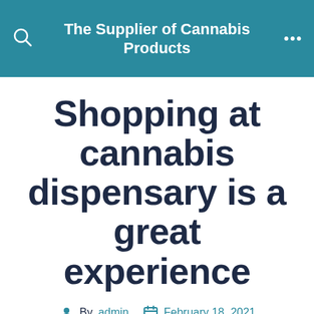The Supplier of Cannabis Products
Shopping at cannabis dispensary is a great experience
By admin  February 18, 2021
I normally hate having to go shopping.